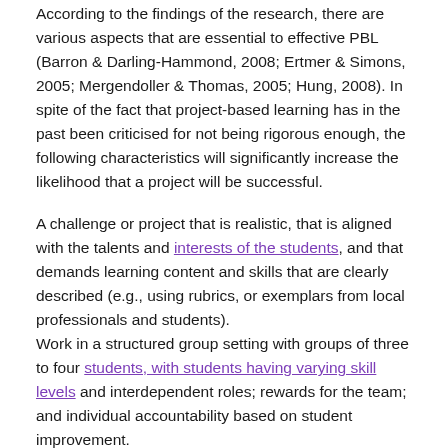According to the findings of the research, there are various aspects that are essential to effective PBL (Barron & Darling-Hammond, 2008; Ertmer & Simons, 2005; Mergendoller & Thomas, 2005; Hung, 2008). In spite of the fact that project-based learning has in the past been criticised for not being rigorous enough, the following characteristics will significantly increase the likelihood that a project will be successful.
A challenge or project that is realistic, that is aligned with the talents and interests of the students, and that demands learning content and skills that are clearly described (e.g., using rubrics, or exemplars from local professionals and students).
Work in a structured group setting with groups of three to four students, with students having varying skill levels and interdependent roles; rewards for the team; and individual accountability based on student improvement.
Multiple learning outcomes, such as problem-solving